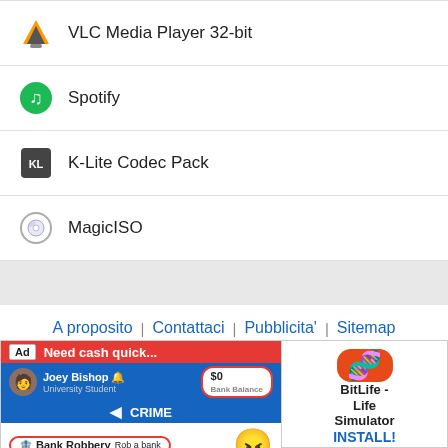VLC Media Player 32-bit
Spotify
K-Lite Codec Pack
MagicISO
A proposito | Contattaci | Pubblicita' | Sitemap
Termini e Condizioni Generali | Politica relativa ai cookies |
Politica sulla privacy | Informazioni legali | Impostazioni cookie
[Figure (screenshot): Mobile advertisement banner for BitLife - Life Simulator app, showing a game screenshot with 'Need cash quick...' text, crime menu with Bank Robbery option, and BitLife icon with INSTALL! button]